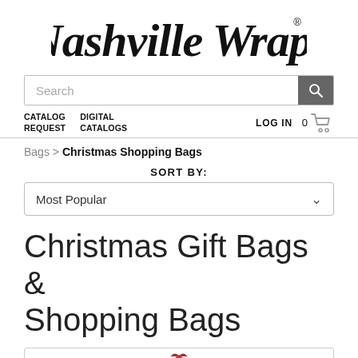[Figure (logo): Nashville Wraps script logo with registered trademark symbol]
Search
CATALOG REQUEST   DIGITAL CATALOGS   LOG IN   0
Bags > Christmas Shopping Bags
SORT BY:
Most Popular
Christmas Gift Bags & Shopping Bags